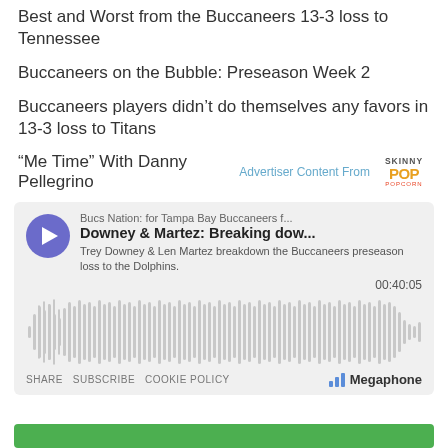Best and Worst from the Buccaneers 13-3 loss to Tennessee
Buccaneers on the Bubble: Preseason Week 2
Buccaneers players didn’t do themselves any favors in 13-3 loss to Titans
“Me Time” With Danny Pellegrino   Advertiser Content From  [SkinnyPop logo]
[Figure (other): Podcast player widget showing Bucs Nation podcast, episode 'Downey & Martez: Breaking dow...' with play button, audio waveform, timestamp 00:40:05, and Megaphone branding. Controls include SHARE, SUBSCRIBE, COOKIE POLICY.]